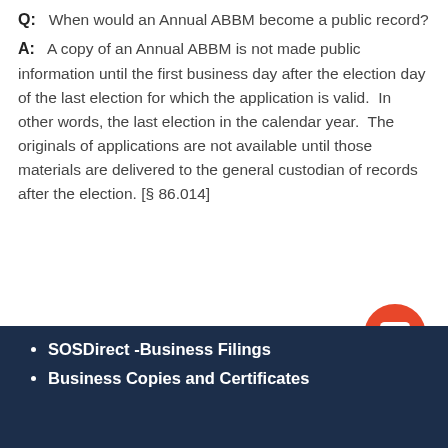Q:  When would an Annual ABBM become a public record?
A:   A copy of an Annual ABBM is not made public information until the first business day after the election day of the last election for which the application is valid.  In other words, the last election in the calendar year.  The originals of applications are not available until those materials are delivered to the general custodian of records after the election. [§ 86.014]
SOSDirect -Business Filings
Business Copies and Certificates